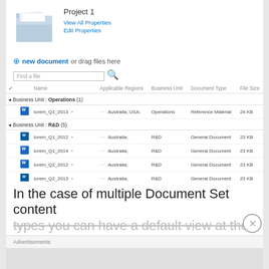[Figure (illustration): Document set folder icon with colorful bar chart overlay, representing a project folder]
Project 1
View All Properties
Edit Properties
+ new document or drag files here
Find a file [search box]
| ✓ |  | Name | Applicable Regions | Business Unit | Document Type | File Size |
| --- | --- | --- | --- | --- | --- | --- |
| Business Unit : Operations (1) |  |  |  |  |  |  |
|  | W | lorem_Q1_2013 | ... | Australia; USA; | Operations | Reference Material | 24 KB |
| Business Unit : R&D (5) |  |  |  |  |  |  |
|  | W | lorem_Q1_2012 | ... | Australia; | R&D | General Document | 23 KB |
|  | W | lorem_Q1_2014 | ... | Australia; | R&D | General Document | 23 KB |
|  | W | lorem_Q2_2012 | ... | Australia; | R&D | General Document | 23 KB |
|  | W | lorem_Q2_2013 | ... | Australia; | R&D | General Document | 23 KB |
|  | W | lorem_Q2_2014 | ... | Australia; | R&D | General Document | 23 KB |
In the case of multiple Document Set content types you can have a default view at the top
Advertisements